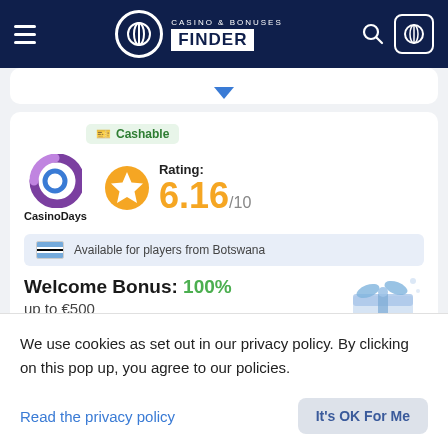Casino & Bonuses Finder
[Figure (logo): Casino Days brand logo with purple ring icon and CasinoDays text]
Cashable
Rating: 6.16/10
Available for players from Botswana
Welcome Bonus: 100% up to €500
Casino Days
We use cookies as set out in our privacy policy. By clicking on this pop up, you agree to our policies.
Read the privacy policy
It's OK For Me